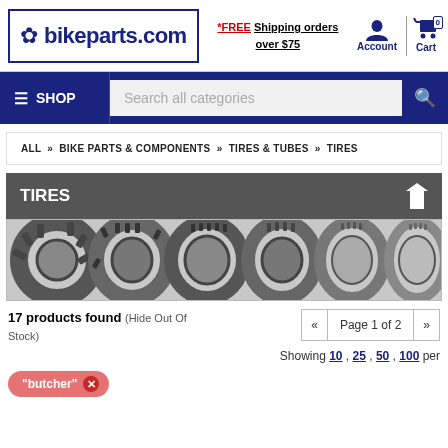bikeparts.com — *FREE Shipping orders over $75 — Account | Cart 0
≡ SHOP | Search all categories
ALL » BIKE PARTS & COMPONENTS » TIRES & TUBES » TIRES
TIRES
[Figure (photo): A row of various bicycle tires standing upright, shown in black and white, displaying different tread patterns]
17 products found (Hide Out Of Stock)
« Page 1 of 2 »
Showing 10 , 25 , 50 , 100 per
"butcher" ✕